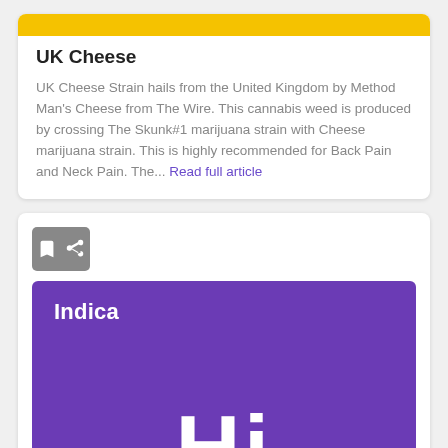[Figure (other): Yellow banner bar at the top of a card]
UK Cheese
UK Cheese Strain hails from the United Kingdom by Method Man's Cheese from The Wire. This cannabis weed is produced by crossing The Skunk#1 marijuana strain with Cheese marijuana strain. This is highly recommended for Back Pain and Neck Pain. The... Read full article
[Figure (other): Icon bar with bookmark and share icons, followed by a purple block showing 'Indica' label and large 'Hi' text in white on purple background]